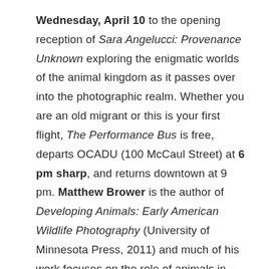Wednesday, April 10 to the opening reception of Sara Angelucci: Provenance Unknown exploring the enigmatic worlds of the animal kingdom as it passes over into the photographic realm. Whether you are an old migrant or this is your first flight, The Performance Bus is free, departs OCADU (100 McCaul Street) at 6 pm sharp, and returns downtown at 9 pm. Matthew Brower is the author of Developing Animals: Early American Wildlife Photography (University of Minnesota Press, 2011) and much of his work focuses on the role of animals in visual culture. He teaches Museum Studies at the University of Toronto and has curated